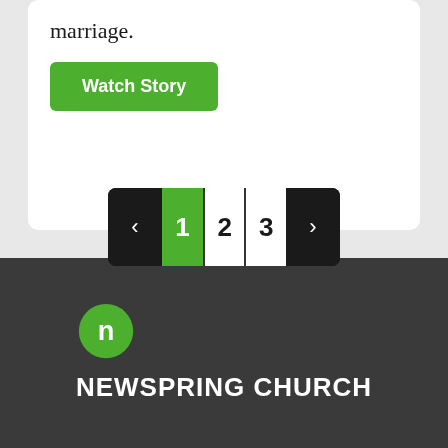marriage.
Watch Story
[Figure (screenshot): Pagination bar with left arrow, active page 1 (green), pages 2 and 3 (white), right arrow, on dark background]
[Figure (logo): NewSpring Church logo: green speech-bubble icon with white lowercase n, above bold white text NEWSPRING CHURCH on dark background]